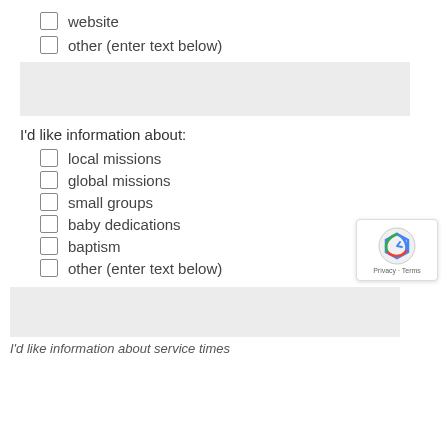website
other (enter text below)
[Figure (other): Gray text input area box]
I'd like information about:
local missions
global missions
small groups
baby dedications
baptism
other (enter text below)
[Figure (other): Gray text input area box at bottom with reCAPTCHA badge overlay]
I'd like information about service times